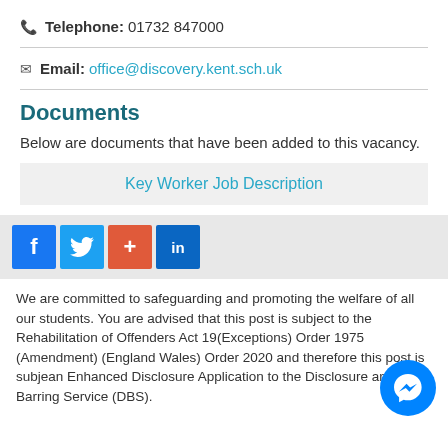Telephone: 01732 847000
Email: office@discovery.kent.sch.uk
Documents
Below are documents that have been added to this vacancy.
Key Worker Job Description
[Figure (other): Social media share buttons: Facebook, Twitter, Add (+), LinkedIn]
We are committed to safeguarding and promoting the welfare of all our students. You are advised that this post is subject to the Rehabilitation of Offenders Act 19... (Exceptions) Order 1975 (Amendment) (England Wales) Order 2020 and therefore this post is subject an Enhanced Disclosure Application to the Disclosure and Barring Service (DBS).